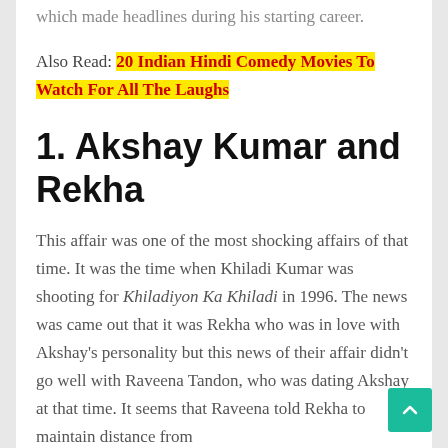which made headlines during his starting career.
Also Read: 20 Indian Hindi Comedy Movies To Watch For All The Laughs
1. Akshay Kumar and Rekha
This affair was one of the most shocking affairs of that time. It was the time when Khiladi Kumar was shooting for Khiladiyon Ka Khiladi in 1996. The news was came out that it was Rekha who was in love with Akshay's personality but this news of their affair didn't go well with Raveena Tandon, who was dating Akshay at that time. It seems that Raveena told Rekha to maintain distance from